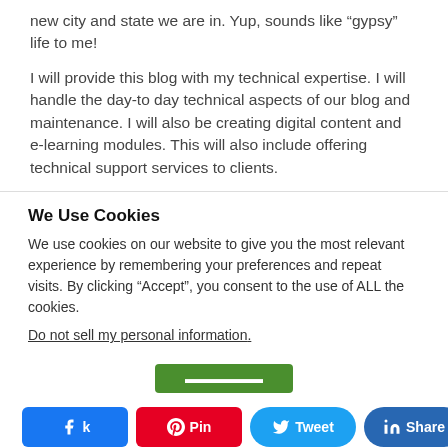new city and state we are in. Yup, sounds like “gypsy” life to me!
I will provide this blog with my technical expertise. I will handle the day-to day technical aspects of our blog and maintenance. I will also be creating digital content and e-learning modules. This will also include offering technical support services to clients.
We Use Cookies
We use cookies on our website to give you the most relevant experience by remembering your preferences and repeat visits. By clicking “Accept”, you consent to the use of ALL the cookies.
Do not sell my personal information.
[Figure (other): Green Accept button]
[Figure (other): Social share bar with Facebook, Pinterest, Twitter, LinkedIn buttons and share count of 0]